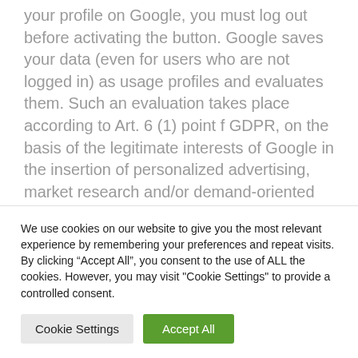your profile on Google, you must log out before activating the button. Google saves your data (even for users who are not logged in) as usage profiles and evaluates them. Such an evaluation takes place according to Art. 6 (1) point f GDPR, on the basis of the legitimate interests of Google in the insertion of personalized advertising, market research and/or demand-oriented design of its website. You have the right to object to the creation of these user profiles. If you
We use cookies on our website to give you the most relevant experience by remembering your preferences and repeat visits. By clicking “Accept All”, you consent to the use of ALL the cookies. However, you may visit "Cookie Settings" to provide a controlled consent.